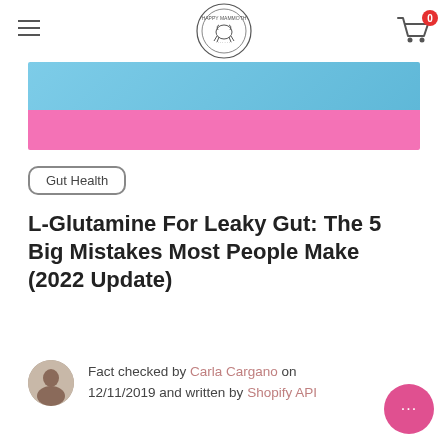Happy Mammoth — navigation header with logo
[Figure (photo): Hero image showing a woman in a blue polka dot outfit against a pink background]
Gut Health
L-Glutamine For Leaky Gut: The 5 Big Mistakes Most People Make (2022 Update)
Fact checked by Carla Cargano on 12/11/2019 and written by Shopify API